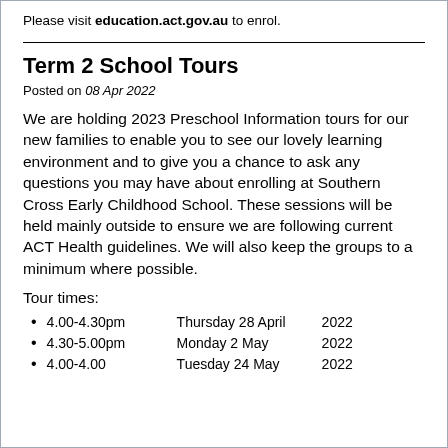Please visit education.act.gov.au to enrol.
Term 2 School Tours
Posted on 08 Apr 2022
We are holding 2023 Preschool Information tours for our new families to enable you to see our lovely learning environment and to give you a chance to ask any questions you may have about enrolling at Southern Cross Early Childhood School. These sessions will be held mainly outside to ensure we are following current ACT Health guidelines. We will also keep the groups to a minimum where possible.
Tour times:
4.00-4.30pm    Thursday 28 April    2022
4.30-5.00pm    Monday 2 May    2022
4.00-4.00    Tuesday 24 May    2022